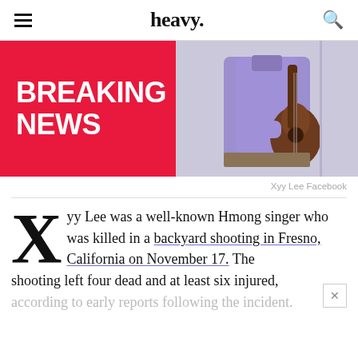heavy.
[Figure (photo): Left half: red Breaking News graphic with white bold text. Right half: photo of a person in a purple shirt holding a guitar against a white wall.]
Xyy Lee Facebook
Xyy Lee was a well-known Hmong singer who was killed in a backyard shooting in Fresno, California on November 17. The shooting left four dead and at least six injured, according to early reports following the incident.